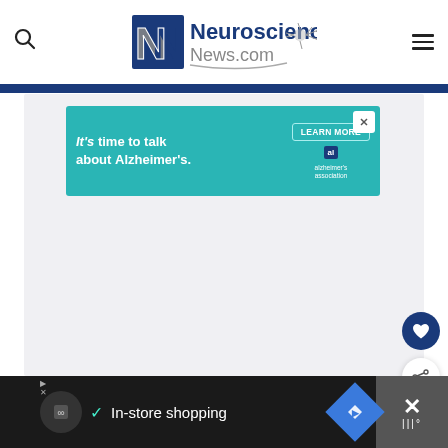Neuroscience News.com
[Figure (screenshot): Advertisement banner: teal background with text 'It's time to talk about Alzheimer's.' and 'LEARN MORE' button, Alzheimer's Association logo, close button]
[Figure (screenshot): Large light gray content area placeholder below the ad banner]
[Figure (screenshot): Bottom advertisement bar on dark background with 'In-store shopping' text, icons, and close button]